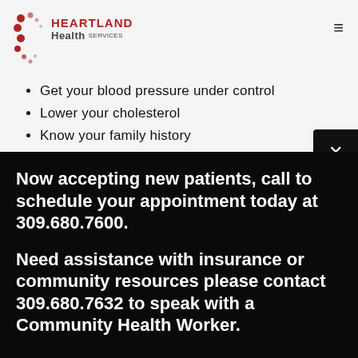[Figure (logo): Heartland Health Services logo with red dot cluster and text]
Get your blood pressure under control
Lower your cholesterol
Know your family history
Stay active
Now accepting new patients, call to schedule your appointment today at 309.680.7600.
Need assistance with insurance or community resources please contact 309.680.7632 to speak with a Community Health Worker.